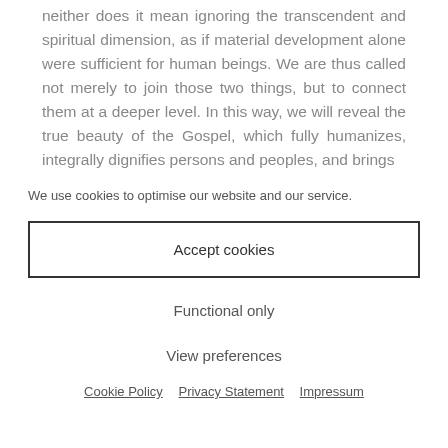neither does it mean ignoring the transcendent and spiritual dimension, as if material development alone were sufficient for human beings. We are thus called not merely to join those two things, but to connect them at a deeper level. In this way, we will reveal the true beauty of the Gospel, which fully humanizes, integrally dignifies persons and peoples, and brings
We use cookies to optimise our website and our service.
Accept cookies
Functional only
View preferences
Cookie Policy   Privacy Statement   Impressum